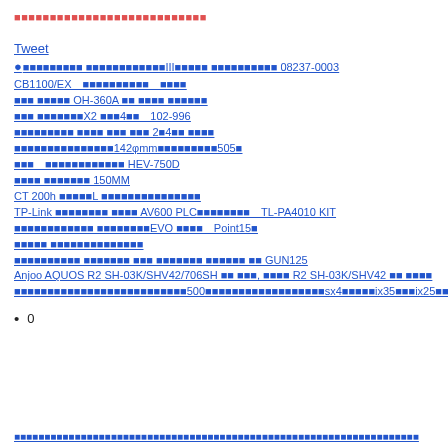■■■■■■■■■■■■■■■■■■■■■■■■■■■
Tweet
●■■■■■■■■ ■■■■■■■■■■■■III■■■■■ ■■■■■■■■■■ 08237-0003
CB1100/EX　■■■■■■■■■■　■■■■
■■■ ■■■■■ OH-360A ■■ ■■■■ ■■■■■■
■■■ ■■■■■■■X2 ■■■4■■　102-996
■■■■■■■■■ ■■■■ ■■■ ■■■ 2■4■■ ■■■■
■■■■■■■■■■■■■■■142φmm■■■■■■■■■505■
■■■　■■■■■■■■■■■■ HEV-750D
■■■■ ■■■■■■■ 150MM
CT 200h ■■■■■L ■■■■■■■■■■■■■■■
TP-Link ■■■■■■■■ ■■■■ AV600 PLC■■■■■■■■　TL-PA4010 KIT
■■■■■■■■■■■■ ■■■■■■■■EVO ■■■■　Point15■
■■■■■ ■■■■■■■■■■■■■■
■■■■■■■■■■ ■■■■■■■ ■■■ ■■■■■■■ ■■■■■■ ■■ GUN125
Anjoo AQUOS R2 SH-03K/SHV42/706SH ■■ ■■■, ■■■■ R2 SH-03K/SHV42 ■■ ■■■■
■■■■■■■■■■■■■■■■■■■■■■■■■■500■■■■■■■■■■■■■■■■■■sx4■■■■■ix35■■■ix25■■
• 0
■■■■■■■■■■■■■■■■■■■■■■■■■■■■■■■■■■■■■■■■■■■■■■■■■■■■■■■■■■■■■■■■■■■